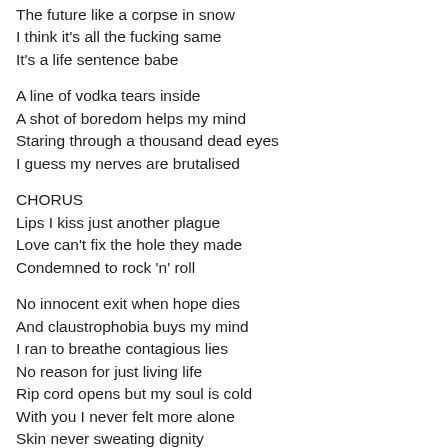The future like a corpse in snow
I think it's all the fucking same
It's a life sentence babe
A line of vodka tears inside
A shot of boredom helps my mind
Staring through a thousand dead eyes
I guess my nerves are brutalised
CHORUS
Lips I kiss just another plague
Love can't fix the hole they made
Condemned to rock 'n' roll
No innocent exit when hope dies
And claustrophobia buys my mind
I ran to breathe contagious lies
No reason for just living life
Rip cord opens but my soul is cold
With you I never felt more alone
Skin never sweating dignity
Kept my line beneath ecstasy